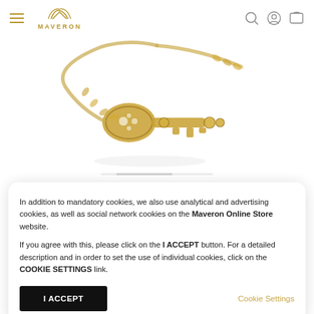MAVERON - navigation header with hamburger menu, logo, search, account and cart icons
[Figure (photo): Close-up of a gold decorative key-shaped jewelry piece with diamond/crystal center and chain, on white background]
In addition to mandatory cookies, we also use analytical and advertising cookies, as well as social network cookies on the Maveron Online Store website.

If you agree with this, please click on the I ACCEPT button. For a detailed description and in order to set the use of individual cookies, click on the COOKIE SETTINGS link.
I ACCEPT
Cookie Settings